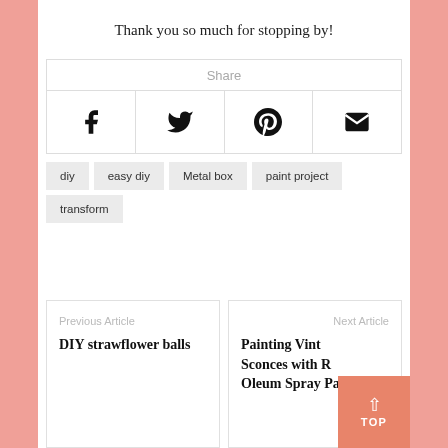Thank you so much for stopping by!
Share
[Figure (infographic): Social share buttons: Facebook, Twitter, Pinterest, Email icons in a 4-column grid]
diy
easy diy
Metal box
paint project
transform
Previous Article
DIY strawflower balls
Next Article
Painting Vintage Sconces with Rust-Oleum Spray Paint